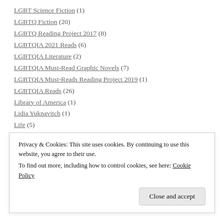LGBT Science Fiction (1)
LGBTQ Fiction (20)
LGBTQ Reading Project 2017 (8)
LGBTQIA 2021 Reads (6)
LGBTQIA Literature (2)
LGBTQIA Must-Read Graphic Novels (7)
LGBTQIA Must-Reads Reading Project 2019 (1)
LGBTQIA Reads (26)
Library of America (1)
Lidia Yuknavitch (1)
Life (5)
Literary Biographies (4)
Privacy & Cookies: This site uses cookies. By continuing to use this website, you agree to their use. To find out more, including how to control cookies, see here: Cookie Policy
Close and accept